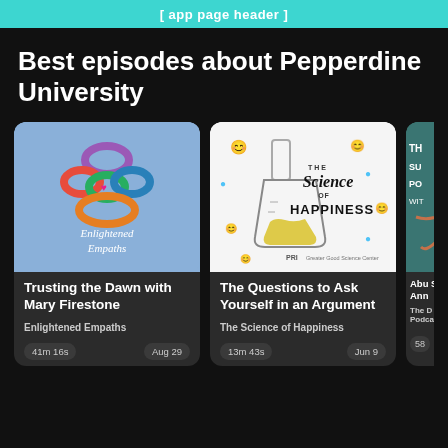[ app page header ]
Best episodes about Pepperdine University
[Figure (illustration): Podcast card image: Enlightened Empaths logo with colorful infinity loops and text 'Enlightened Empaths' on blue background]
Trusting the Dawn with Mary Firestone
Enlightened Empaths
41m 16s    Aug 29
[Figure (illustration): Podcast card image: The Science of Happiness logo with beaker/flask and emoji faces on white background, PRI branding]
The Questions to Ask Yourself in an Argument
The Science of Happiness
13m 43s    Jun 9
[Figure (illustration): Partial third podcast card with teal background, partially cut off]
Abu Soc Ann
The D Podca
58